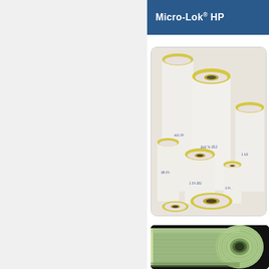Micro-Lok® HP
[Figure (photo): Multiple cylindrical pipe insulation sections of various sizes with white exterior and yellow ends, showing Micro-Lok HP product]
[Figure (photo): Close-up of a single Micro-Lok HP pipe insulation section showing green fibrous interior texture on dark background]